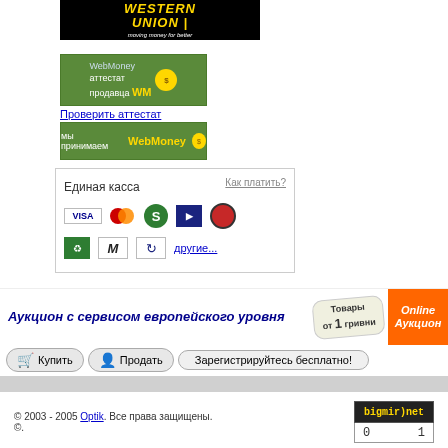[Figure (logo): Western Union logo banner - black background, yellow text, italic subtitle 'moving money for better']
[Figure (logo): WebMoney аттестат продавца WM badge - green background with WM logo and coin]
Проверить аттестат
[Figure (logo): WebMoney мы принимаем badge - green background]
[Figure (infographic): Единая касса payment icons box - VISA, MasterCard, Skrill, arrow, red circle, recycle, M, spinner icons with 'другие...' link and 'Как платить?' link]
[Figure (infographic): Аукцион с сервисом европейского уровня banner with Товары от 1 гривни bubble and Online Аукцион orange button]
[Figure (infographic): Купить, Продать, Зарегистрируйтесь бесплатно buttons row]
© 2003 - 2005 Optik. Все права защищены. ©.
[Figure (logo): bigmir)net counter badge showing 0 and 1]